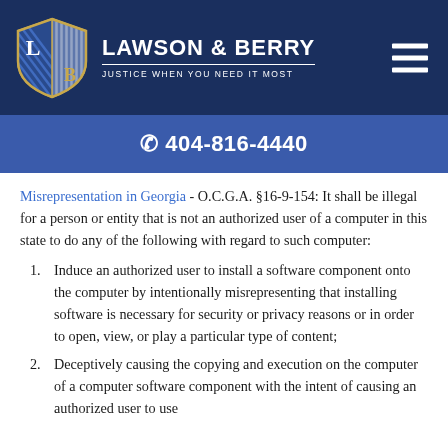LAWSON & BERRY — JUSTICE WHEN YOU NEED IT MOST
☎ 404-816-4440
Misrepresentation in Georgia - O.C.G.A. §16-9-154: It shall be illegal for a person or entity that is not an authorized user of a computer in this state to do any of the following with regard to such computer:
Induce an authorized user to install a software component onto the computer by intentionally misrepresenting that installing software is necessary for security or privacy reasons or in order to open, view, or play a particular type of content;
Deceptively causing the copying and execution on the computer of a computer software component with the intent of causing an authorized user to use